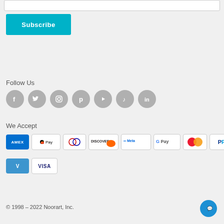[Figure (screenshot): Subscribe button (teal/cyan) with white bold text 'Subscribe']
Follow Us
[Figure (infographic): Row of 7 social media icons in grey circles: Facebook, Twitter, Instagram, Pinterest, YouTube, TikTok, LinkedIn]
We Accept
[Figure (infographic): Two rows of payment method badges: AMEX, Apple Pay, Diners Club, Discover, Meta Pay, Google Pay, Mastercard, PayPal, Shop Pay, Venmo, Visa]
© 1998 – 2022 Noorart, Inc.